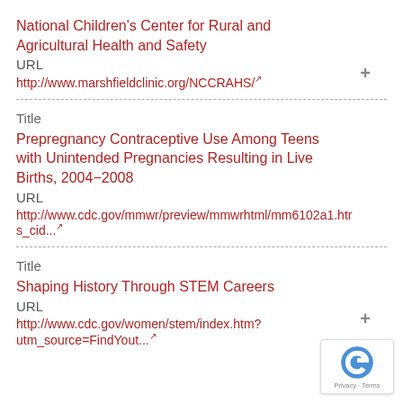National Children's Center for Rural and Agricultural Health and Safety
URL
http://www.marshfieldclinic.org/NCCRAHS/
Title
Prepregnancy Contraceptive Use Among Teens with Unintended Pregnancies Resulting in Live Births, 2004–2008
URL
http://www.cdc.gov/mmwr/preview/mmwrhtml/mm6102a1.htm s_cid...
Title
Shaping History Through STEM Careers
URL
http://www.cdc.gov/women/stem/index.htm?utm_source=FindYout...